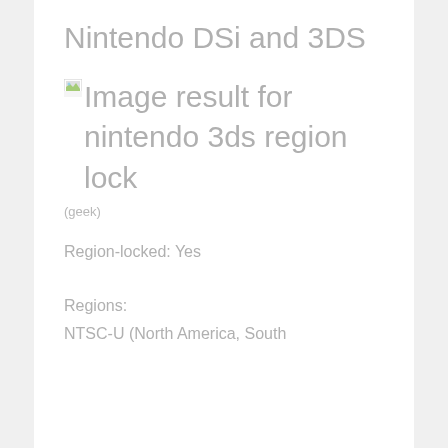Nintendo DSi and 3DS
[Figure (other): Broken image placeholder with alt text: Image result for nintendo 3ds region lock]
(geek)
Region-locked: Yes
Regions:
NTSC-U (North America, South